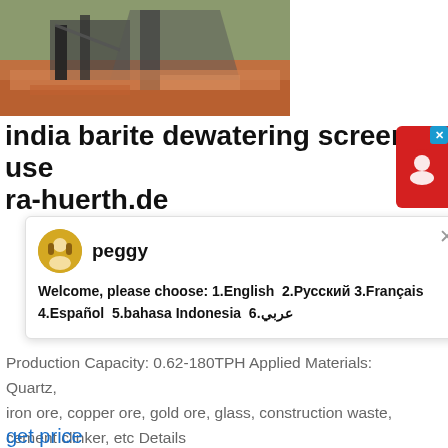[Figure (photo): Aerial view of a mining/quarry facility with conveyor belts, crushers, and orange/red mineral deposits on the ground surrounded by green vegetation.]
india barite dewatering screen use ra-huerth.de
[Figure (screenshot): Chat popup window with avatar named 'peggy' showing welcome message with language choices: 1.English 2.Русский 3.Français 4.Español 5.bahasa Indonesia 6.عربي]
Production Capacity: 0.62-180TPH Applied Materials: Quartz, iron ore, copper ore, gold ore, glass, construction waste, cement clinker, etc Details
get price
[Figure (photo): Bottom portion of a building with yellow columns against a blue sky.]